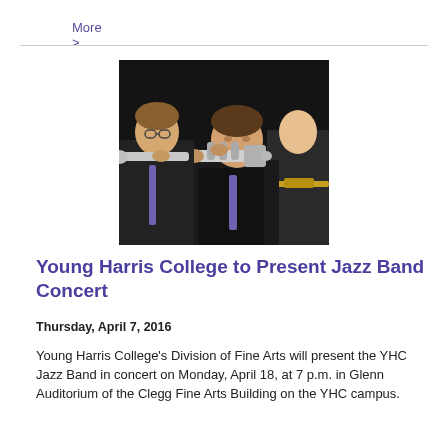More >
[Figure (photo): Musicians playing brass instruments (trumpet and trombone) on stage against a dark background, wearing black attire with purple ties.]
Young Harris College to Present Jazz Band Concert
Thursday, April 7, 2016
Young Harris College's Division of Fine Arts will present the YHC Jazz Band in concert on Monday, April 18, at 7 p.m. in Glenn Auditorium of the Clegg Fine Arts Building on the YHC campus.
More >